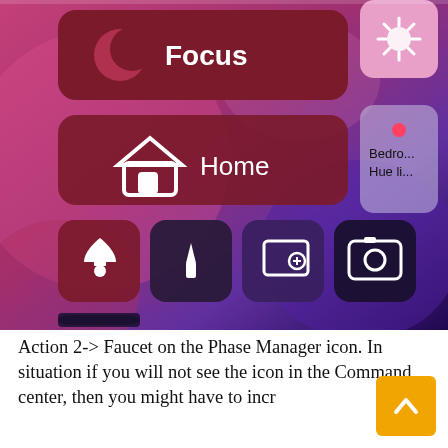[Figure (screenshot): iOS Control Center screenshot showing control buttons: Focus (moon icon, dark red/maroon), brightness slider, volume slider, Home (house icon), Bedroom Hue light, bell/notification, flashlight, Screen Recording, Camera, QR code scanner, Apple Pay/signature, Mirror/Stage Manager]
Action 2-> Faucet on the Phase Manager icon. In situation if you will not see the icon in the Command center, then you might have to increase it...